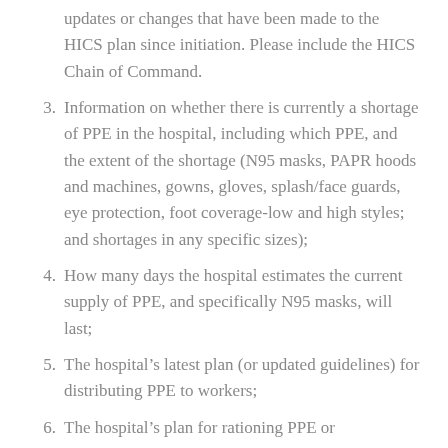updates or changes that have been made to the HICS plan since initiation. Please include the HICS Chain of Command.
3. Information on whether there is currently a shortage of PPE in the hospital, including which PPE, and the extent of the shortage (N95 masks, PAPR hoods and machines, gowns, gloves, splash/face guards, eye protection, foot coverage-low and high styles; and shortages in any specific sizes);
4. How many days the hospital estimates the current supply of PPE, and specifically N95 masks, will last;
5. The hospital’s latest plan (or updated guidelines) for distributing PPE to workers;
6. The hospital’s plan for rationing PPE or